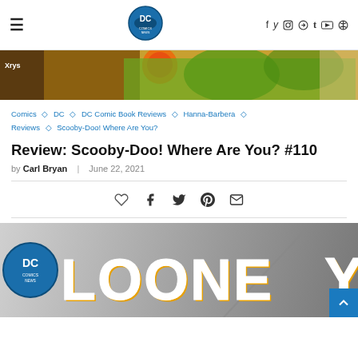DC Comics News — navigation header with hamburger menu, DC Comics News logo, social icons (f, twitter, instagram, pinterest, tumblr, youtube, search)
[Figure (illustration): Top cropped comic book panel showing colorful illustrated fruit/plant imagery with orange and green tones]
Comics ◇ DC ◇ DC Comic Book Reviews ◇ Hanna-Barbera ◇ Reviews ◇ Scooby-Doo! Where Are You?
Review: Scooby-Doo! Where Are You? #110
by Carl Bryan | June 22, 2021
[Figure (illustration): Bottom comic book cover image showing large stylized text 'LOONE' in white with yellow/orange shadow, on grey background, partially cropped, with blue DC Comics circle logo on left side and blue back-to-top arrow button in bottom right corner]